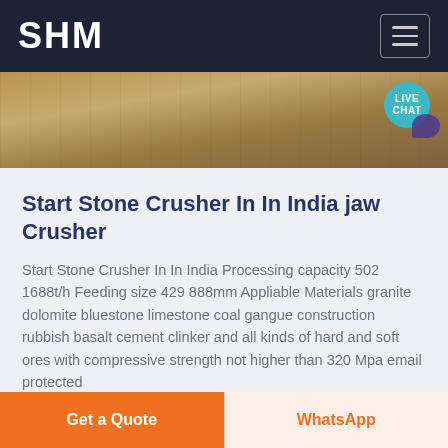SHM
[Figure (photo): Aerial or elevated view of an earthy construction/quarry site with sandy terrain, fencing, and machinery visible. A 'LIVE CHAT' bubble appears in the top-right corner.]
Start Stone Crusher In In India jaw Crusher
Start Stone Crusher In In India Processing capacity 502 1688t/h Feeding size 429 888mm Appliable Materials granite dolomite bluestone limestone coal gangue construction rubbish basalt cement clinker and all kinds of hard and soft ores with compressive strength not higher than 320 Mpa email protected
Get a Quote
WhatsApp